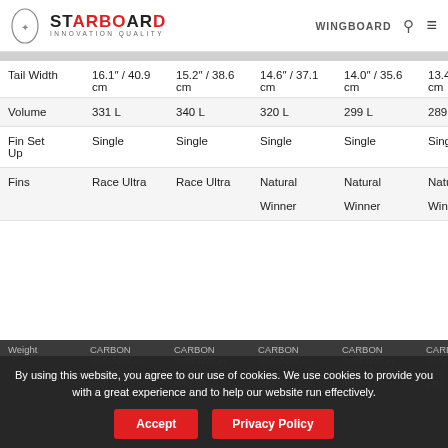STARBOARD | INNOVATION QUALITY | WINGBOARD
|  | Col1 | Col2 | Col3 | Col4 | Col5 |
| --- | --- | --- | --- | --- | --- |
| Tail Width | 16.1" / 40.9 cm | 15.2" / 38.6 cm | 14.6" / 37.1 cm | 14.0" / 35.6 cm | 13.4 cm |
| Volume | 331 L | 340 L | 320 L | 299 L | 289 |
| Fin Set Up | Single | Single | Single | Single | Sing |
| Fins | Race Ultra | Race Ultra | Natural Winner | Natural Winner | Natu Winr |
| Weight | CARBON SANDWICH: 13.2 kg (est) WOOD | CARBON SANDWICH: WOOD | CARBON SANDWICH: WOOD | CARBON SANDWICH: 12.3 kg (est) | CARB SAN 1×8 (est) |
By using this website, you agree to our use of cookies. We use cookies to provide you with a great experience and to help our website run effectively.
Accept
Privacy Policy